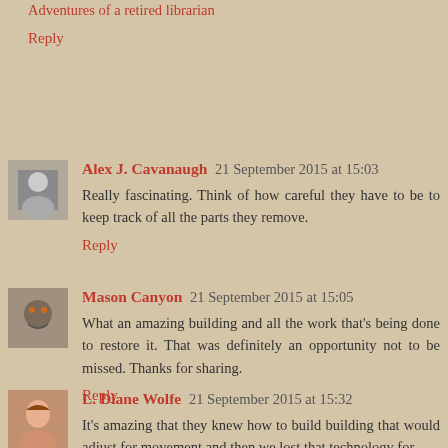Adventures of a retired librarian
Reply
Alex J. Cavanaugh 21 September 2015 at 15:03
Really fascinating. Think of how careful they have to be to keep track of all the parts they remove.
Reply
Mason Canyon 21 September 2015 at 15:05
What an amazing building and all the work that's being done to restore it. That was definitely an opportunity not to be missed. Thanks for sharing.
Reply
L. Diane Wolfe 21 September 2015 at 15:32
It's amazing that they knew how to build building that would adjust for movement and then we lost that technology for